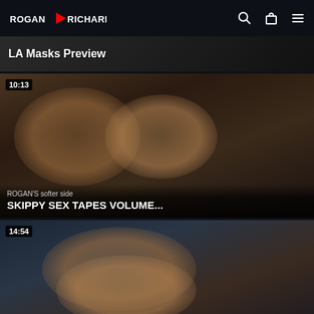ROGAN RICHARDS (logo with play button icon, search, bag, menu icons)
[Figure (screenshot): Video thumbnail card showing dark scene with text overlay 'LA Masks Preview']
[Figure (screenshot): Video thumbnail card showing two men, duration 10:13, subtitle 'ROGAN'S softer side', title 'SKIPPY SEX TAPES VOLUME...']
[Figure (screenshot): Video thumbnail card showing athletic scene, duration 14:54, subtitle 'How an ALPHA DOM fucks', title 'Skippy Baxter Sex Tapes Vo...']